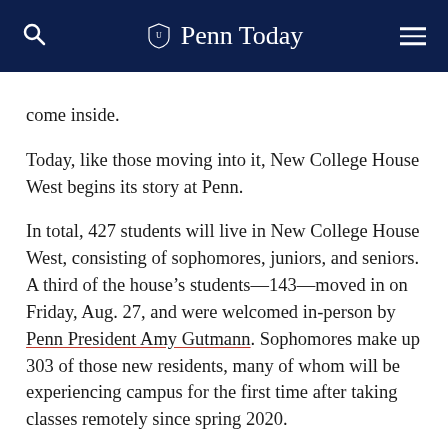Penn Today
come inside.
Today, like those moving into it, New College House West begins its story at Penn.
In total, 427 students will live in New College House West, consisting of sophomores, juniors, and seniors. A third of the house’s students—143—moved in on Friday, Aug. 27, and were welcomed in-person by Penn President Amy Gutmann. Sophomores make up 303 of those new residents, many of whom will be experiencing campus for the first time after taking classes remotely since spring 2020.
“It’s so surreal,” says Yune Kim, a sophomore in the